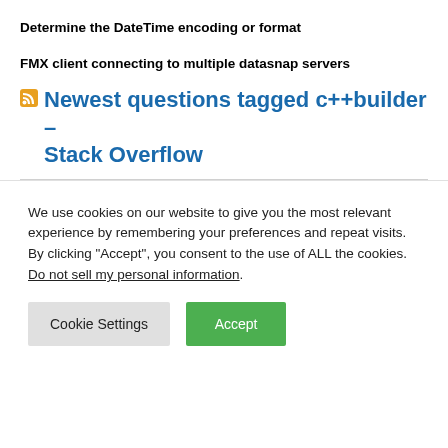Determine the DateTime encoding or format
FMX client connecting to multiple datasnap servers
Newest questions tagged c++builder – Stack Overflow
We use cookies on our website to give you the most relevant experience by remembering your preferences and repeat visits. By clicking "Accept", you consent to the use of ALL the cookies.
Do not sell my personal information.